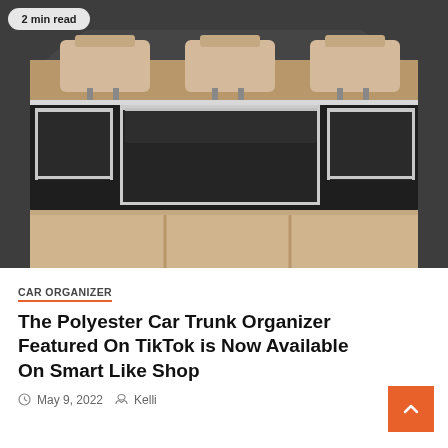[Figure (photo): Photo of a black polyester car trunk organizer with white trim, mounted on the back of a car rear seat. Multiple pockets visible. Image has a circular crop overlay. Badge in top-left reads '2 min read'.]
CAR ORGANIZER
The Polyester Car Trunk Organizer Featured On TikTok is Now Available On Smart Like Shop
May 9, 2022  Kelli